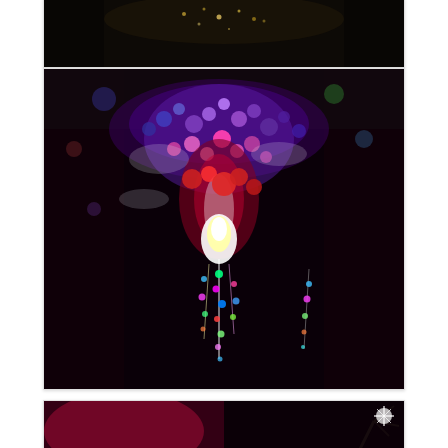[Figure (photo): Partial view of a dark indoor scene with sparkly/glittery light decoration at the top of the frame, cropped at top of page]
[Figure (photo): Large colorful chandelier or light sculpture hanging from the ceiling in a dark room, with multicolored lights — purple, pink, red, green, blue, white — forming an inverted cone/icicle shape. The background is very dark.]
[Figure (photo): Partial view of a dark red/pink lit interior space, cropped at bottom of page, with what appears to be decorative palm or plant elements on the right side]